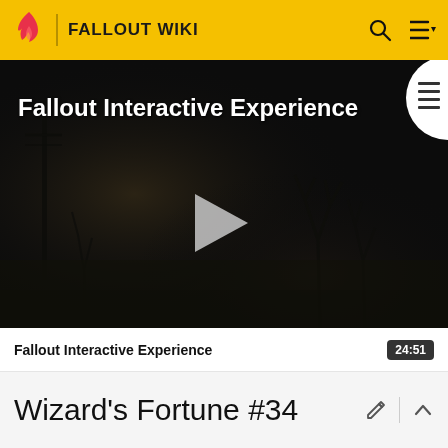FALLOUT WIKI
[Figure (screenshot): Dark atmospheric video thumbnail for Fallout Interactive Experience showing a post-apocalyptic scene with bare trees and dim lighting. A play button is centered on the image. A chapter/list icon appears in a white circle cutout at the top right. Text overlay reads 'Fallout Interactive Experience'.]
Fallout Interactive Experience   24:51
Wizard's Fortune #34